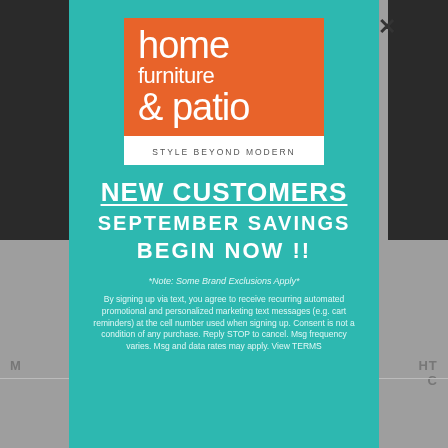[Figure (screenshot): Website popup modal for Home Furniture & Patio with teal background, orange square logo with white text, promotional text for new customers September savings, and legal disclaimer text. Background shows a grey furniture product page.]
home furniture & patio — STYLE BEYOND MODERN
NEW CUSTOMERS
SEPTEMBER SAVINGS
BEGIN NOW !!
*Note: Some Brand Exclusions Apply*
By signing up via text, you agree to receive recurring automated promotional and personalized marketing text messages (e.g. cart reminders) at the cell number used when signing up. Consent is not a condition of any purchase. Reply STOP to cancel. Msg frequency varies. Msg and data rates may apply. View TERMS